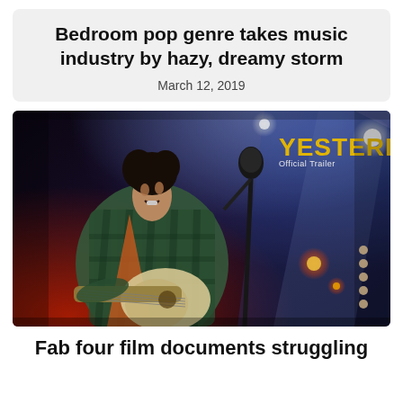Bedroom pop genre takes music industry by hazy, dreamy storm
March 12, 2019
[Figure (photo): Still from the film 'Yesterday' showing a young man playing guitar and singing into a microphone on stage, with the movie title 'YESTERDAY' and 'Official Trailer' text overlaid in yellow on the right side. Stage has red and blue lighting.]
Fab four film documents struggling